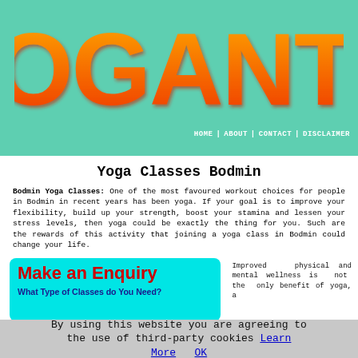[Figure (logo): YOGANTO logo in large bold orange gradient letters on teal/mint green background]
HOME | ABOUT | CONTACT | DISCLAIMER
Yoga Classes Bodmin
Bodmin Yoga Classes: One of the most favoured workout choices for people in Bodmin in recent years has been yoga. If your goal is to improve your flexibility, build up your strength, boost your stamina and lessen your stress levels, then yoga could be exactly the thing for you. Such are the rewards of this activity that joining a yoga class in Bodmin could change your life.
Make an Enquiry
What Type of Classes do You Need?
Improved physical and mental wellness is not the only benefit of yoga, a
By using this website you are agreeing to the use of third-party cookies Learn More OK